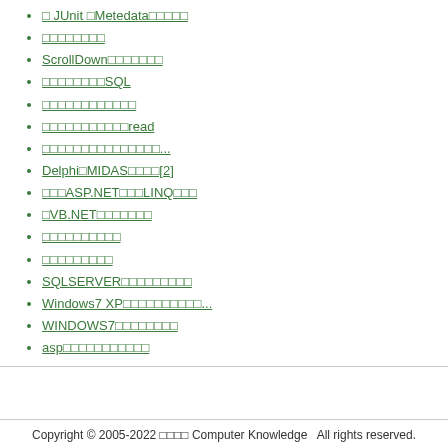□ JUnit □Metedata□□□□□
□□□□□□□□
ScrollDown□□□□□□□
□□□□□□□□SQL
□□□□□□□□□□□□
□□□□□□□□□□□read
□□□□□□□□□□□□□□□...
Delphi□MIDAS□□□□[2]
□□□ASP.NET□□□LINQ□□□
□VB.NET□□□□□□□
□□□□□□□□□□
□□□□□□□□□
SQLSERVER□□□□□□□□□
Windows7 XP□□□□□□□□□□...
WINDOWS7□□□□□□□□
asp□□□□□□□□□□□
Copyright © 2005-2022 □□□□ Computer Knowledge   All rights reserved.